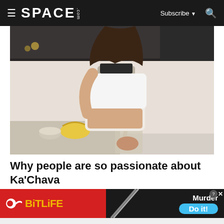≡ SPACE.com   Subscribe ▼  🔍
[Figure (photo): A woman in a white crop top pouring a beige protein shake from a blender jar into a glass jar, in a modern kitchen with bananas and a bowl visible in the background.]
Why people are so passionate about Ka'Chava
[Figure (infographic): Advertisement banner: Left side has red background with BitLife logo (sperm icon and yellow BitLife text). Right side has dark background with a pencil/knife image, text 'Murder' in white bold, and a blue pill-shaped button saying 'Do it!'. Close button (question mark circle and X) in top right.]